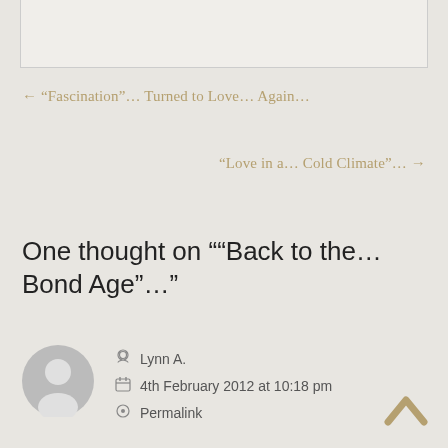← “Fascination”… Turned to Love… Again…
“Love in a… Cold Climate”… →
One thought on ““Back to the… Bond Age”…”
Lynn A.
4th February 2012 at 10:18 pm
Permalink